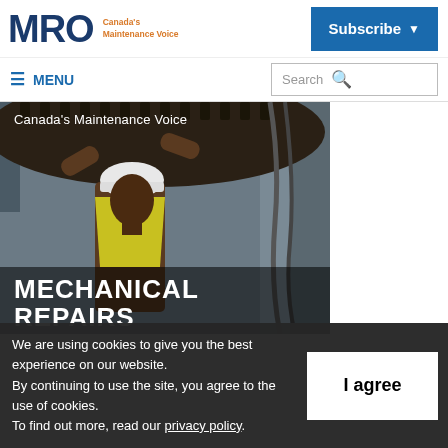MRO Canada's Maintenance Voice
Subscribe
≡ MENU
Search
[Figure (photo): A maintenance worker in a yellow safety vest and white hard hat working on large industrial gears. Text overlays read 'Canada's Maintenance Voice' at top and 'MECHANICAL REPAIRS' at bottom.]
We are using cookies to give you the best experience on our website. By continuing to use the site, you agree to the use of cookies. To find out more, read our privacy policy.
I agree